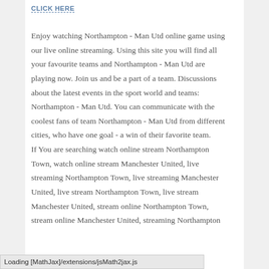CLICK HERE
Enjoy watching Northampton - Man Utd online game using our live online streaming. Using this site you will find all your favourite teams and Northampton - Man Utd are playing now. Join us and be a part of a team. Discussions about the latest events in the sport world and teams: Northampton - Man Utd. You can communicate with the coolest fans of team Northampton - Man Utd from different cities, who have one goal - a win of their favorite team.
If You are searching watch online stream Northampton Town, watch online stream Manchester United, live streaming Northampton Town, live streaming Manchester United, live stream Northampton Town, live stream Manchester United, stream online Northampton Town, stream online Manchester United, streaming Northampton
Loading [MathJax]/extensions/jsMath2jax.js